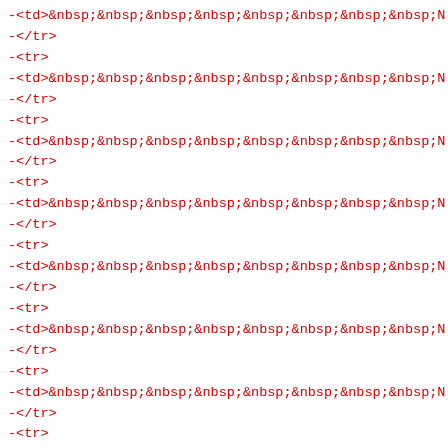-<td>&nbsp;&nbsp;&nbsp;&nbsp;&nbsp;&nbsp;&nbsp;&nbsp;N
-</tr>
-<tr>
-<td>&nbsp;&nbsp;&nbsp;&nbsp;&nbsp;&nbsp;&nbsp;&nbsp;N
-</tr>
-<tr>
-<td>&nbsp;&nbsp;&nbsp;&nbsp;&nbsp;&nbsp;&nbsp;&nbsp;N
-</tr>
-<tr>
-<td>&nbsp;&nbsp;&nbsp;&nbsp;&nbsp;&nbsp;&nbsp;&nbsp;N
-</tr>
-<tr>
-<td>&nbsp;&nbsp;&nbsp;&nbsp;&nbsp;&nbsp;&nbsp;&nbsp;N
-</tr>
-<tr>
-<td>&nbsp;&nbsp;&nbsp;&nbsp;&nbsp;&nbsp;&nbsp;&nbsp;N
-</tr>
-<tr>
-<td>&nbsp;&nbsp;&nbsp;&nbsp;&nbsp;&nbsp;&nbsp;&nbsp;N
-</tr>
-<tr>
-<td>&nbsp;&nbsp;&nbsp;&nbsp;&nbsp;&nbsp;&nbsp;&nbsp;N